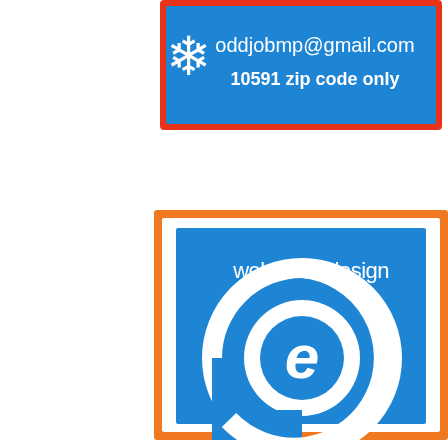[Figure (infographic): Blue banner with red border, snowflake icon on left, white text: oddjobmp@gmail.com and 10591 zip code only]
[Figure (logo): websites+design logo: blue square with white circular '@e' symbol and text 'websites+design', framed in orange border]